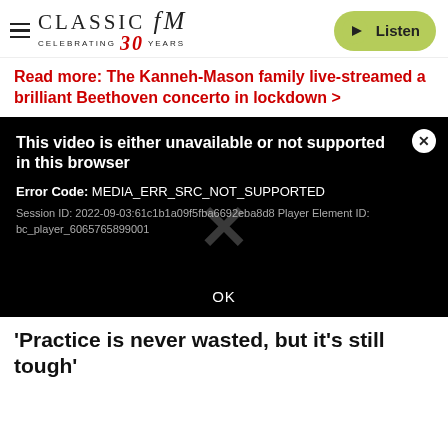CLASSIC FM CELEBRATING 30 YEARS | Listen
Read more: The Kanneh-Mason family live-streamed a brilliant Beethoven concerto in lockdown >
[Figure (screenshot): Black video player error dialog. Title: 'This video is either unavailable or not supported in this browser'. Error Code: MEDIA_ERR_SRC_NOT_SUPPORTED. Session ID: 2022-09-03:61c1b1a09f5fba6692eba8d8 Player Element ID: bc_player_6065765899001. Large X watermark. OK button at bottom.]
'Practice is never wasted, but it's still tough'